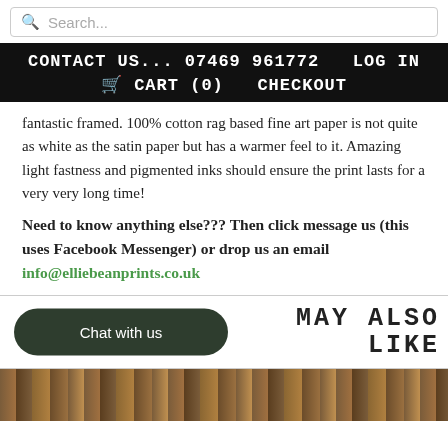Search...
CONTACT US... 07469 961772   LOG IN
🛒 CART (0)   CHECKOUT
fantastic framed. 100% cotton rag based fine art paper is not quite as white as the satin paper but has a warmer feel to it. Amazing light fastness and pigmented inks should ensure the print lasts for a very very long time!
Need to know anything else??? Then click message us (this uses Facebook Messenger) or drop us an email info@elliebeanprints.co.uk
MAY ALSO LIKE
[Figure (photo): Wooden texture strip at bottom of page]